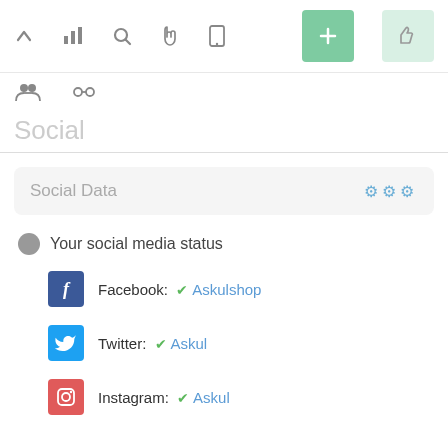[Figure (screenshot): Top toolbar with icons: chevron up, bar chart, search, hand/cursor, mobile phone, green active button, light green thumbs-up button]
[Figure (screenshot): Secondary toolbar with group/people icon and chain/link icon]
Social
Social Data with gear icons
Your social media status
Facebook: ✓ Askulshop
Twitter: ✓ Askul
Instagram: ✓ Askul